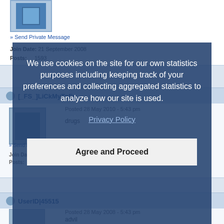[Figure (screenshot): Forum page screenshot showing user posts with avatars, usernames, post timestamps and content, partially obscured by a cookie consent overlay.]
» Send Private Message
Join Date: 21 September 2008
Posts: 1593
[_FS_]LiCkMyToFu
Posted 28 May 2010 - 5:43 pm
drugs
» Send Private Message
Join Date: 21 June 2008
Posts:
UserID|45515
Posted 28 May 2008 - 5:43 pm
advil
We use cookies on the site for our own statistics purposes including keeping track of your preferences and collecting aggregated statistics to analyze how our site is used.
Privacy Policy
Agree and Proceed